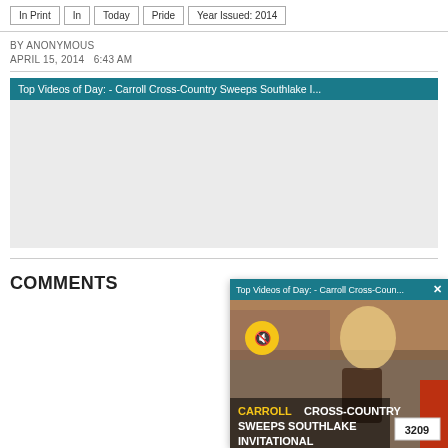In Print | In | Today | Pride | Year Issued: 2014
BY ANONYMOUS
APRIL 15, 2014  6:43 AM
[Figure (screenshot): Embedded video player with teal title bar reading 'Top Videos of Day: - Carroll Cross-Country Sweeps Southlake I...' and gray placeholder content area]
[Figure (screenshot): Floating video player overlay with teal title bar 'Top Videos of Day: - Carroll Cross-Coun...' with X close button, showing a runner (bib 3209) and overlay text 'CARROLL CROSS-COUNTRY SWEEPS SOUTHLAKE INVITATIONAL' with mute button]
COMMENTS